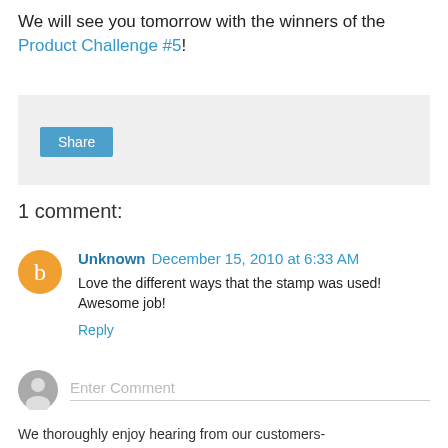We will see you tomorrow with the winners of the Product Challenge #5!
[Figure (screenshot): Share button widget area with light gray background]
1 comment:
Unknown December 15, 2010 at 6:33 AM
Love the different ways that the stamp was used! Awesome job!
Reply
Enter Comment
We thoroughly enjoy hearing from our customers- the pleasure of watching the time to know you are on the